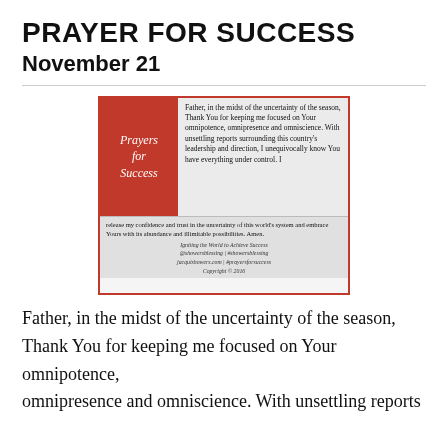PRAYER FOR SUCCESS
November 21
[Figure (illustration): Prayer card image with red left panel containing 'Prayers for Success' in cursive white text, and right/bottom panel with prayer text: 'Father, in the midst of the uncertainty of the season, Thank You for keeping me focused on Your omnipotence, omnipresence and omniscience. With unsettling reports surrounding this country's leadership and direction, I unequivocally know You have everything under control. I release my confidence and trust in the uncertainty of this world's system and embrace Yours with its abundance and illimitable possibilities. Amen.' Footer: Igniting the World to Achieve Success @showersblessing | #showersblessing jacquishowers.com | #prayersforsuccess Copyright © 2016]
Father, in the midst of the uncertainty of the season, Thank You for keeping me focused on Your omnipotence, omnipresence and omniscience. With unsettling reports